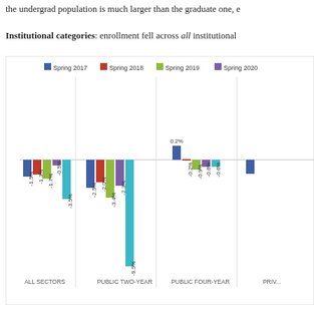the undergrad population is much larger than the graduate one, e
Institutional categories: enrollment fell across all institutional
[Figure (grouped-bar-chart): ]